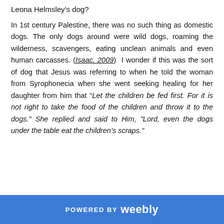Leona Helmsley’s dog?
In 1st century Palestine, there was no such thing as domestic dogs. The only dogs around were wild dogs, roaming the wilderness, scavengers, eating unclean animals and even human carcasses. (Isaac, 2009)  I wonder if this was the sort of dog that Jesus was referring to when he told the woman from Syrophonecia when she went seeking healing for her daughter from him that “Let the children be fed first. For it is not right to take the food of the children and throw it to the dogs.” She replied and said to Him, “Lord, even the dogs under the table eat the children’s scraps.”
POWERED BY weebly